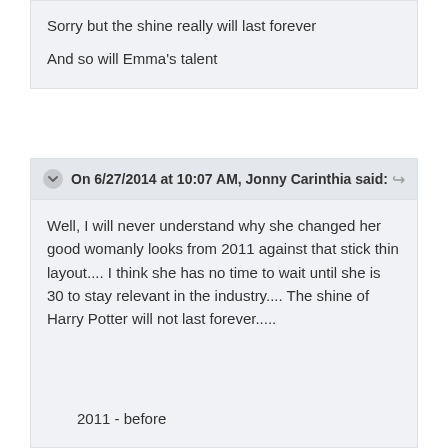Sorry but the shine really will last forever
And so will Emma's talent
On 6/27/2014 at 10:07 AM, Jonny Carinthia said:
Well, I will never understand why she changed her good womanly looks from 2011 against that stick thin layout.... I think she has no time to wait until she is 30 to stay relevant in the industry.... The shine of Harry Potter will not last forever.....
2011 - before